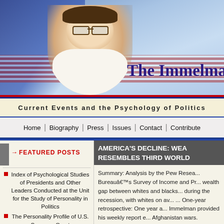[Figure (photo): Website banner with American flag background, photo of a man with glasses in a white shirt, and the text 'The Immelman' in dark blue serif font]
Current Events and the Psychology of Politics
Home | Biography | Press | Issues | Contact | Contribute
FEATURED POSTS
Index of Psychological Studies of Presidents and Other Leaders Conducted at the Unit for the Study of Personality in Politics
The Personality Profile of U.S. Supreme Court
AMERICA'S DECLINE: WEA... RESEMBLES THIRD WORLD...
Summary: Analysis by the Pew Research... Bureau's Survey of Income and Pr... wealth gap between whites and blacks... during the recession, with whites on av... ... One-year retrospective: One year a... Immelman provided his weekly report e... Afghanistan wars.